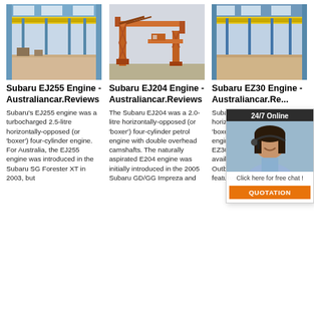[Figure (photo): Indoor industrial warehouse/factory with yellow overhead crane bridge spanning the interior, steel structure, natural light from roof windows]
[Figure (photo): Large orange gantry crane structure outdoors, heavy industrial equipment against a hazy sky]
[Figure (photo): Industrial warehouse interior with yellow overhead crane, similar to first image]
Subaru EJ255 Engine - Australiancar.Reviews
Subaru EJ204 Engine - Australiancar.Reviews
Subaru EZ30 Engine - Australiancar.Re...
Subaru's EJ255 engine was a turbocharged 2.5-litre horizontally-opposed (or 'boxer') four-cylinder engine. For Australia, the EJ255 engine was introduced in the Subaru SG Forester XT in 2003, but
The Subaru EJ204 was a 2.0-litre horizontally-opposed (or 'boxer') four-cylinder petrol engine with double overhead camshafts. The naturally aspirated E204 engine was initially introduced in the 2005 Subaru GD/GG Impreza and
Subaru's EZ30 was a 3.0-litre horizontally-opposed (or 'boxer') six-cylinder petrol engine. For Australia, the EZ30D engine was solely available on the Subaru Outback from 2000-03. Key features of
[Figure (infographic): Chat support widget showing '24/7 Online' header, a woman with headset (customer support agent), 'Click here for free chat!' text, and an orange QUOTATION button]